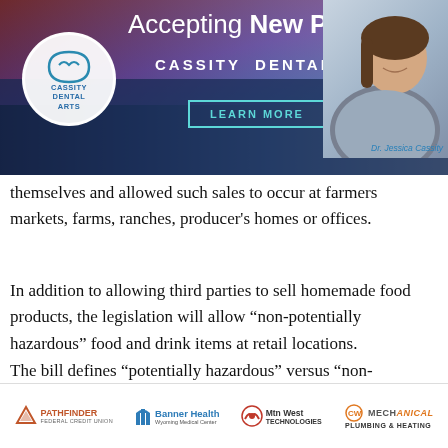[Figure (illustration): Cassity Dental Arts advertisement banner with text 'Accepting New Patients', dental logo circle, 'LEARN MORE' button, and photo of Dr. Jessica Cassity]
themselves and allowed such sales to occur at farmers markets, farms, ranches, producer's homes or offices.
In addition to allowing third parties to sell homemade food products, the legislation will allow “non-potentially hazardous” food and drink items at retail locations.
The bill defines “potentially hazardous” versus “non-potentially hazardous” food items. The original version of the bill defined these as follows:
[Figure (logo): Footer logos: Pathfinder Federal Credit Union, Banner Health Wyoming Medical Center, Mtn West Technologies, CW Mechanical Plumbing & Heating]